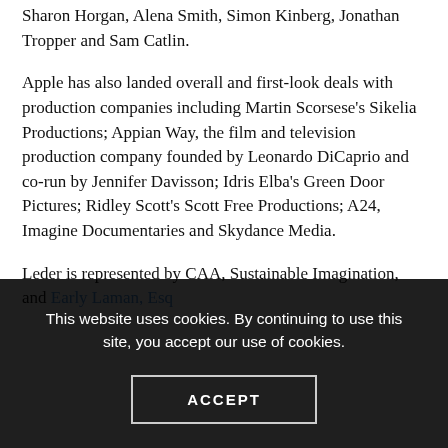Sharon Horgan, Alena Smith, Simon Kinberg, Jonathan Tropper and Sam Catlin.
Apple has also landed overall and first-look deals with production companies including Martin Scorsese's Sikelia Productions; Appian Way, the film and television production company founded by Leonardo DiCaprio and co-run by Jennifer Davisson; Idris Elba's Green Door Pictures; Ridley Scott's Scott Free Productions; A24, Imagine Documentaries and Skydance Media.
Leder is represented by CAA, Sustainable Imagination, and [partially obscured by cookie banner]
This website uses cookies. By continuing to use this site, you accept our use of cookies.
ACCEPT